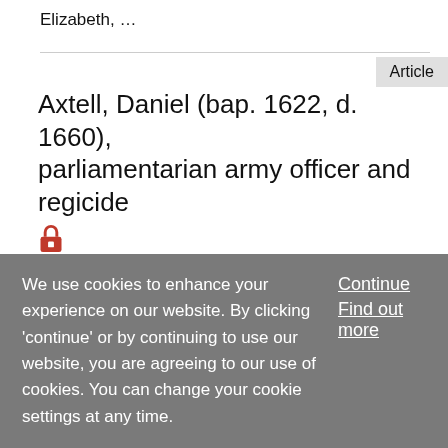Elizabeth, …
Article
Axtell, Daniel (bap. 1622, d. 1660), parliamentarian army officer and regicide
Alan Thomson
Published in print: 23 September 2004
Published online: 23 September 2004
Axtell, Daniel (bap. 1622, d. 1660), parliamentarian army officer and regicide, was baptized on 26 May 1622 at Great
We use cookies to enhance your experience on our website. By clicking 'continue' or by continuing to use our website, you are agreeing to our use of cookies. You can change your cookie settings at any time.
Continue
Find out more